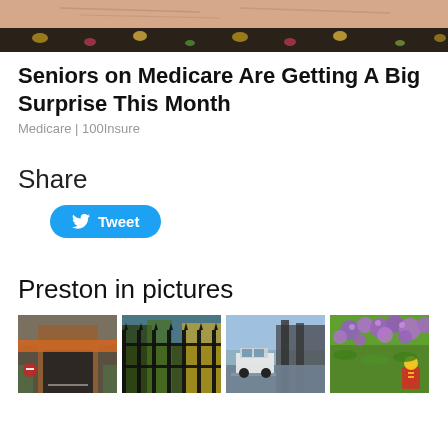[Figure (photo): Close-up of elderly person's face/forehead with patterned colorful fabric or headscarf, cropped to top portion]
Seniors on Medicare Are Getting A Big Surprise This Month
Medicare | 100Insure
Share
[Figure (other): Twitter Tweet button (blue rounded rectangle with bird icon and 'Tweet' text)]
Preston in pictures
[Figure (photo): Four thumbnail photos in a row: 1) Road underpass/bridge with orange fence, 2) Dark iron fence with green/yellow trees, 3) Vehicle on road near water or flooded area, 4) Purple flowers with small figurine]